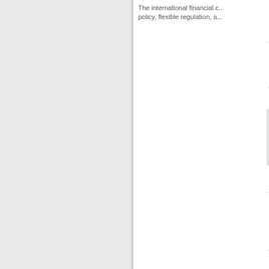The international financial c... policy, flexible regulation, a...
Climate Risk and Pri...
Lehnert, Thorsten
Scientific Conference (2022...
Studying transnation...
Schafer, Valerie
Scientific Conference (2022...
This presentation was an up... within the WARCnet project...
When Cryptographic Proposed Safeguards...
Botes, Wilhelmina Maria
Scientific Conference (2022...
Cryptographic ransomware... critical infrastructures such...
A new R package for countries with respe...